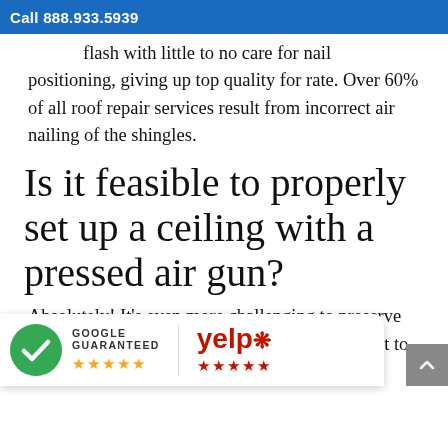Call 888.933.5939
flash with little to no care for nail positioning, giving up top quality for rate. Over 60% of all roof repair services result from incorrect air nailing of the shingles.
Is it feasible to properly set up a ceiling with a pressed air gun?
Absolutely! It's even more challenging to preserve the proper pressure all the time and res sufficient to make certain the job is done appropriately. With
[Figure (logo): Google Guaranteed badge with green checkmark and 5 orange stars, and Yelp logo with 5 red stars]